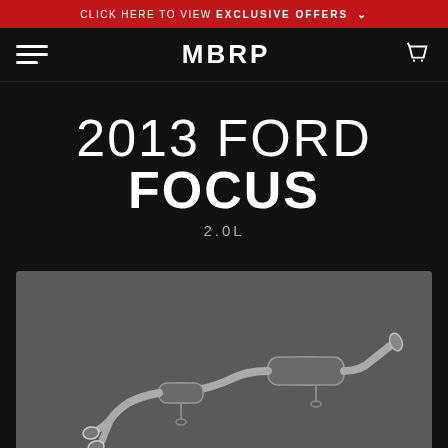CLICK HERE TO VIEW EXCLUSIVE OFFERS
MBRP
2013 FORD FOCUS
2.0L
[Figure (photo): MBRP exhaust system product photo for 2013 Ford Focus 2.0L, showing a cat-back exhaust with dual tips on a dark grey background]